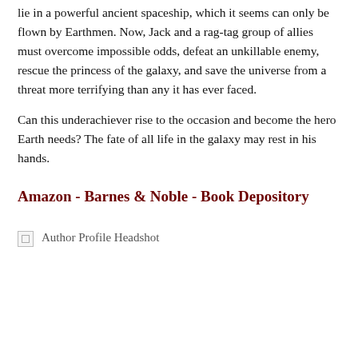lie in a powerful ancient spaceship, which it seems can only be flown by Earthmen. Now, Jack and a rag-tag group of allies must overcome impossible odds, defeat an unkillable enemy, rescue the princess of the galaxy, and save the universe from a threat more terrifying than any it has ever faced.

Can this underachiever rise to the occasion and become the hero Earth needs? The fate of all life in the galaxy may rest in his hands.
Amazon - Barnes & Noble - Book Depository
[Figure (photo): Author Profile Headshot — broken image placeholder with alt text]